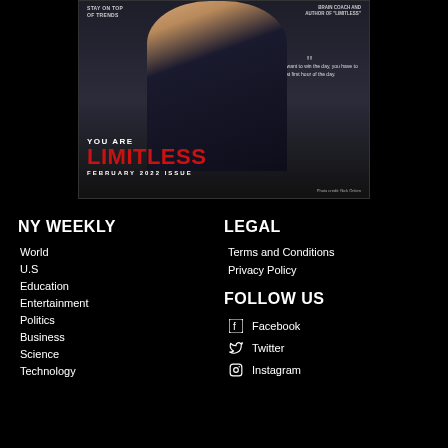[Figure (photo): Magazine cover of NY Weekly February 2022 Issue featuring a man in a suit with text 'YOU ARE LIMITLESS' and a quote about winning the first hour of the day. Brain coach and author of Limitless.]
NY WEEKLY
World
U.S
Education
Entertainment
Politics
Business
Science
Technology
LEGAL
Terms and Conditions
Privacy Policy
FOLLOW US
Facebook
Twitter
Instagram